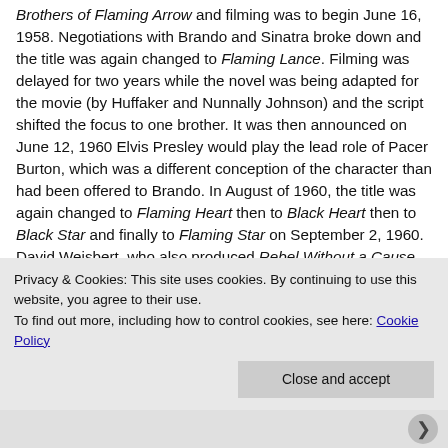Brothers of Flaming Arrow and filming was to begin June 16, 1958. Negotiations with Brando and Sinatra broke down and the title was again changed to Flaming Lance. Filming was delayed for two years while the novel was being adapted for the movie (by Huffaker and Nunnally Johnson) and the script shifted the focus to one brother. It was then announced on June 12, 1960 Elvis Presley would play the lead role of Pacer Burton, which was a different conception of the character than had been offered to Brando. In August of 1960, the title was again changed to Flaming Heart then to Black Heart then to Black Star and finally to Flaming Star on September 2, 1960. David Weisbert, who also produced Rebel Without a Cause and Elvis' first movie Love Me
Privacy & Cookies: This site uses cookies. By continuing to use this website, you agree to their use.
To find out more, including how to control cookies, see here: Cookie Policy
Close and accept